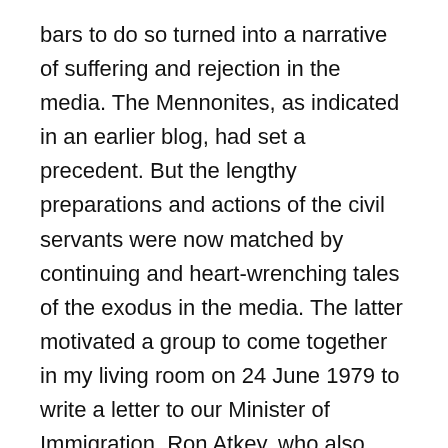bars to do so turned into a narrative of suffering and rejection in the media. The Mennonites, as indicated in an earlier blog, had set a precedent. But the lengthy preparations and actions of the civil servants were now matched by continuing and heart-wrenching tales of the exodus in the media. The latter motivated a group to come together in my living room on 24 June 1979 to write a letter to our Minister of Immigration, Ron Atkey, who also happened to be our member of parliament and a former academic colleague of mine at York University.
The meeting was scheduled for a Sunday afternoon after church services were out. Molloy does not tell the story of how Atkey heard about the meeting. When I had asked him, Atkey said he did not...